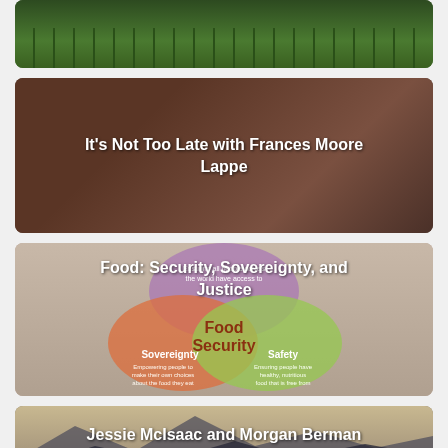[Figure (photo): Crops/seedlings in a field, top card thumbnail]
[Figure (photo): It's Not Too Late with Frances Moore Lappe - woman in front of illustrated chalkboard with text about ideas and manifestation]
[Figure (infographic): Food: Security, Sovereignty, and Justice - Venn diagram with three overlapping circles labeled Food Security, Sovereignty, Safety]
[Figure (photo): Jessie McIsaac and Morgan Berman talk ORI's ... - silhouettes of people against mountain landscape]